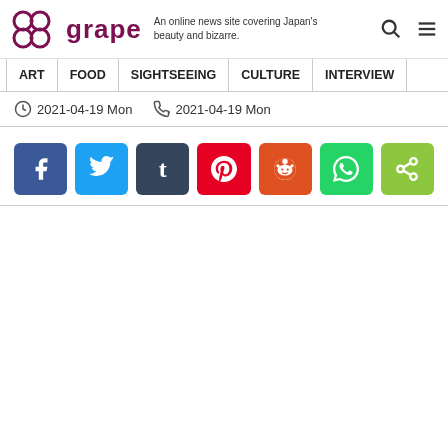grape — An online news site covering Japan's beauty and bizarre.
ART | FOOD | SIGHTSEEING | CULTURE | INTERVIEW
2021-04-19 Mon   2021-04-19 Mon
[Figure (infographic): Social sharing buttons: Facebook (blue), Twitter (light blue), Tumblr (dark navy), Pinterest (red), Reddit (orange-red), WhatsApp (green), Share (lime green)]